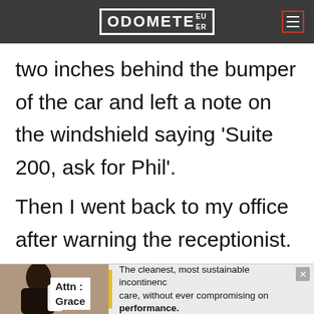ODOMETER
two inches behind the bumper of the car and left a note on the windshield saying 'Suite 200, ask for Phil'.
Then I went back to my office after warning the receptionist. (See how long ago this was? We had a
[Figure (other): Advertisement banner with person image on left, Attn: Grace label, yellow bar, and text: The cleanest, most sustainable incontinence care, without ever compromising on performance.]